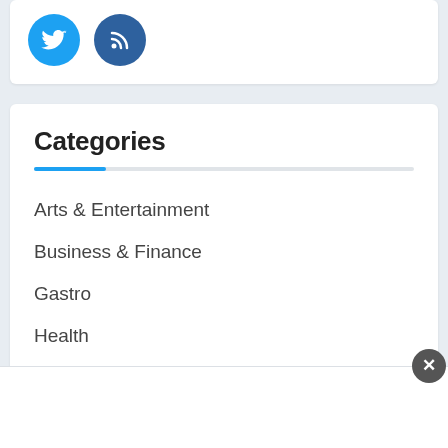[Figure (illustration): Two circular social media icon buttons: Twitter (light blue) and RSS feed (dark blue)]
Categories
Arts & Entertainment
Business & Finance
Gastro
Health
Miscellaneous